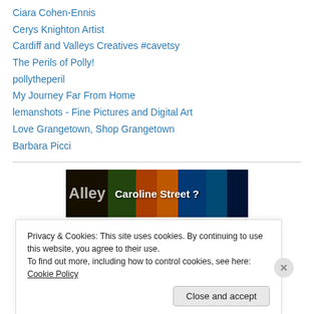Ciara Cohen-Ennis
Cerys Knighton Artist
Cardiff and Valleys Creatives #cavetsy
The Perils of Polly!
pollytheperil
My Journey Far From Home
lemanshots - Fine Pictures and Digital Art
Love Grangetown, Shop Grangetown
Barbara Picci
[Figure (photo): Banner image for Caroline Street Alley blog or website, showing a colorful street scene at night with text 'Caroline Street?' overlaid in white bold font and 'Alley' on the left side.]
Privacy & Cookies: This site uses cookies. By continuing to use this website, you agree to their use.
To find out more, including how to control cookies, see here: Cookie Policy
Close and accept